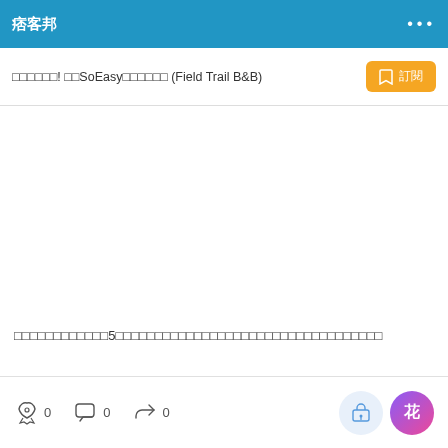痞客邦
□□□□□□! □□SoEasy□□□□□□ (Field Trail B&B)
□□□□□□□□□□□□5□□□□□□□□□□□□□□□□□□□□□□□□□□□□□□□□□□
□□□□
0  0  0